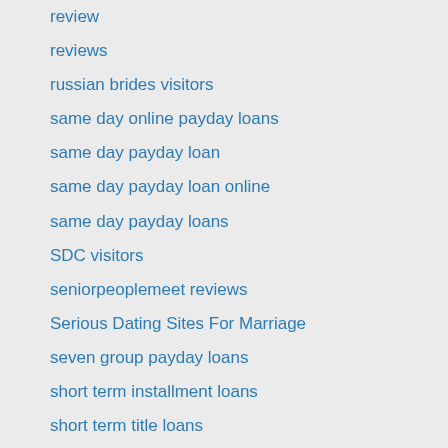review
reviews
russian brides visitors
same day online payday loans
same day payday loan
same day payday loan online
same day payday loans
SDC visitors
seniorpeoplemeet reviews
Serious Dating Sites For Marriage
seven group payday loans
short term installment loans
short term title loans
sign in
sign up